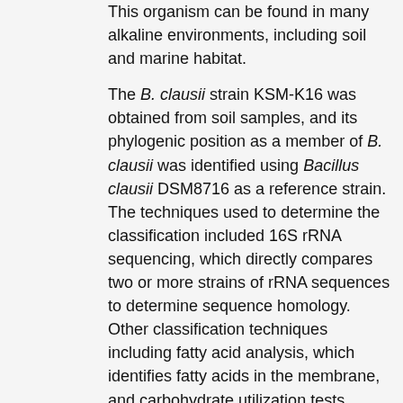This organism can be found in many alkaline environments, including soil and marine habitat.
The B. clausii strain KSM-K16 was obtained from soil samples, and its phylogenic position as a member of B. clausii was identified using Bacillus clausii DSM8716 as a reference strain. The techniques used to determine the classification included 16S rRNA sequencing, which directly compares two or more strains of rRNA sequences to determine sequence homology. Other classification techniques including fatty acid analysis, which identifies fatty acids in the membrane, and carbohydrate utilization tests, which establish the metabolic characteristics of the organism. Growth of KSM-K16 was observed in the temperature range of 15-50°C and the pH range of 7-10.5, with optimal growth at 40°C and pH 9.0. The KSM-K16 strain produces the high-alkaline protease, M-protease, which is hyperproduced by a mutant to be used in industrial scale compact heavy-duty laundry detergent. This